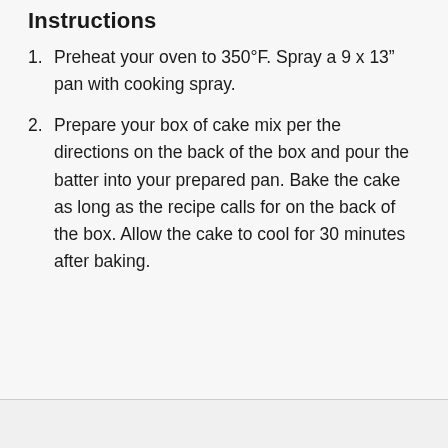Instructions
Preheat your oven to 350°F. Spray a 9 x 13" pan with cooking spray.
Prepare your box of cake mix per the directions on the back of the box and pour the batter into your prepared pan. Bake the cake as long as the recipe calls for on the back of the box. Allow the cake to cool for 30 minutes after baking.